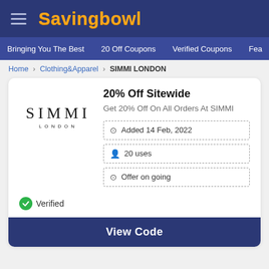Savingbowl
Bringing You The Best   20 Off Coupons   Verified Coupons   Fea
Home > Clothing&Apparel > SIMMI LONDON
20% Off Sitewide
Get 20% Off On All Orders At SIMMI
Added 14 Feb, 2022
20 uses
Offer on going
Verified
View Code